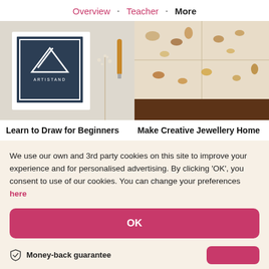Overview · Teacher · More
[Figure (photo): Left: Artistand logo card on white surface with dried flowers and a pen. Right: Jewellery stones/gems in a wooden display tray.]
Learn to Draw for Beginners
Make Creative Jewellery Home
We use our own and 3rd party cookies on this site to improve your experience and for personalised advertising. By clicking 'OK', you consent to use of our cookies. You can change your preferences here
OK
Money-back guarantee